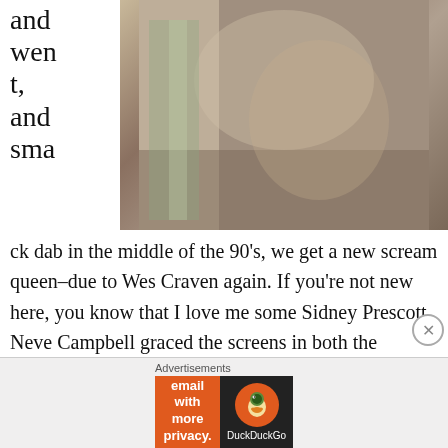and went, and sma
[Figure (photo): Close-up photo of a person wearing a grey/beige sweatshirt, partially visible, indoor setting]
ck dab in the middle of the 90's, we get a new scream queen–due to Wes Craven again. If you're not new here, you know that I love me some Sidney Prescott. Neve Campbell graced the screens in both the Scream franchise and The Craft. Both of these films had the horror genre in a chokehold during the 90s. It was for good reason too, and a lot of it was due to Campbell's natural charisma and edge that she gave to her characters. It made her that much more loveable and
Advertisements
[Figure (screenshot): DuckDuckGo advertisement banner: orange left side reading 'Search, browse, and email with more privacy. All in One Free App' and dark right side with DuckDuckGo duck logo]